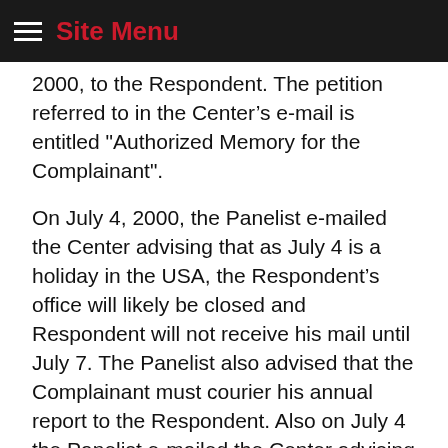Site Menu
2000, to the Respondent. The petition referred to in the Center’s e-mail is entitled "Authorized Memory for the Complainant".
On July 4, 2000, the Panelist e-mailed the Center advising that as July 4 is a holiday in the USA, the Respondent’s office will likely be closed and Respondent will not receive his mail until July 7. The Panelist also advised that the Complainant must courier his annual report to the Respondent. Also on July 4 the Panelist e-mailed the Center advising that the Panelist had not received the copies of the press releases and article on the international press which the Complainant advised was attached to the hard copy of the Annual Report; advising that the Complainant must courier a copy of these documents to the Panelist and also to the Respondent by July 7. Respondent will have until July 14, 2000 to file...